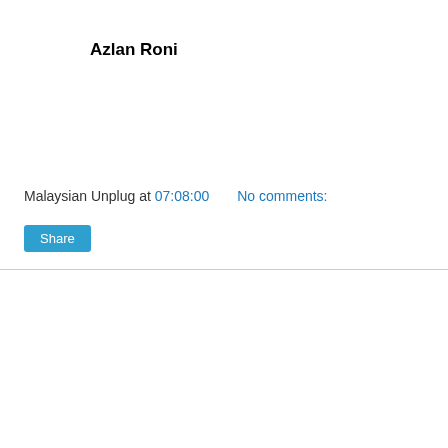Azlan Roni
Malaysian Unplug at 07:08:00   No comments:
Share
UMNO Youth Deputy Chief, Khairy Jamaluddin Calls Malaysian Bloggers, "MONKEYS"
Read here by Bernama News and here for more on Gerbang Ruhanie Blog (in Bahasa)
Quote: